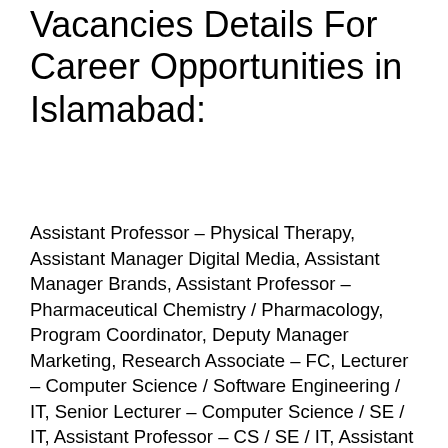Vacancies Details For Career Opportunities in Islamabad:
Assistant Professor – Physical Therapy, Assistant Manager Digital Media, Assistant Manager Brands, Assistant Professor – Pharmaceutical Chemistry / Pharmacology, Program Coordinator, Deputy Manager Marketing, Research Associate – FC, Lecturer – Computer Science / Software Engineering / IT, Senior Lecturer – Computer Science / SE / IT, Assistant Professor – CS / SE / IT, Assistant Professor -Pharmaceutical Chemistry/Pharmacology, Associate Professor-Biomedical Engineering/Electronics Engineering, Assistant Professor –